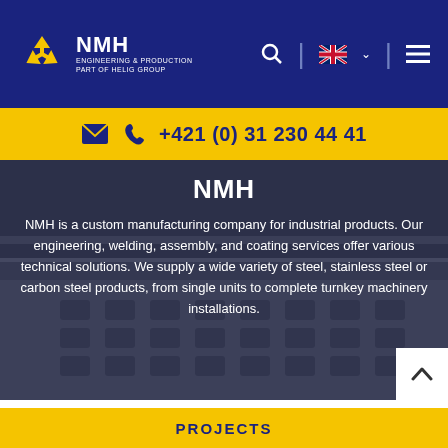[Figure (logo): NMH Engineering & Production logo with yellow recycling arrow icon and white text on dark blue navbar]
+421 (0) 31 230 44 41
NMH
NMH is a custom manufacturing company for industrial products. Our engineering, welding, assembly, and coating services offer various technical solutions. We supply a wide variety of steel, stainless steel or carbon steel products, from single units to complete turnkey machinery installations.
PROJECTS